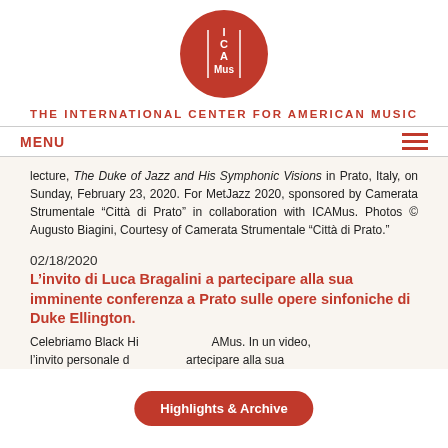[Figure (logo): ICAMus red circular logo with white lettering]
THE INTERNATIONAL CENTER FOR AMERICAN MUSIC
MENU
lecture, The Duke of Jazz and His Symphonic Visions in Prato, Italy, on Sunday, February 23, 2020. For MetJazz 2020, sponsored by Camerata Strumentale “Città di Prato” in collaboration with ICAMus. Photos © Augusto Biagini, Courtesy of Camerata Strumentale “Città di Prato.”
02/18/2020
L’invito di Luca Bragalini a partecipare alla sua imminente conferenza a Prato sulle opere sinfoniche di Duke Ellington.
Celebriamo Black Hi... AMus. In un video, l’invito personale d... artecipare alla sua